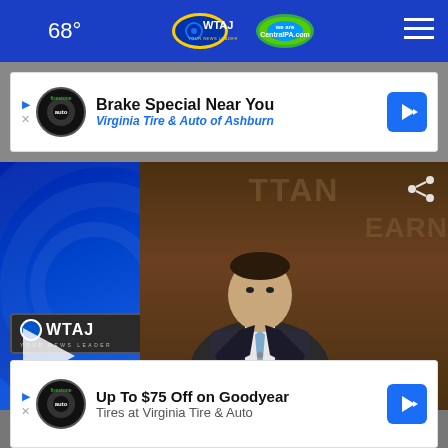🌙 68° | OWTAJ Your News Leader | CentralPA.com
[Figure (screenshot): Advertisement banner: Brake Special Near You - Virginia Tire & Auto of Ashburn]
[Figure (screenshot): OWTAJ news broadcast video thumbnail showing anchor in studio with OWTAJ logo and play button overlay]
[Figure (screenshot): Advertisement banner: Up To $75 Off on Goodyear Tires at Virginia Tire & Auto]